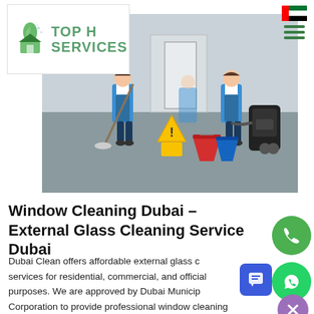[Figure (logo): Top H Services logo with green flame/house icon and green text reading TOP H SERVICES]
[Figure (photo): Cleaning staff in blue aprons mopping a floor with yellow caution sign, red bucket, and vacuum cleaner]
Window Cleaning Dubai – External Glass Cleaning Service Dubai
Dubai Clean offers affordable external glass cleaning services for residential, commercial, and official purposes. We are approved by Dubai Municipality Corporation to provide professional window cleaning services in Dubai. We have established solid